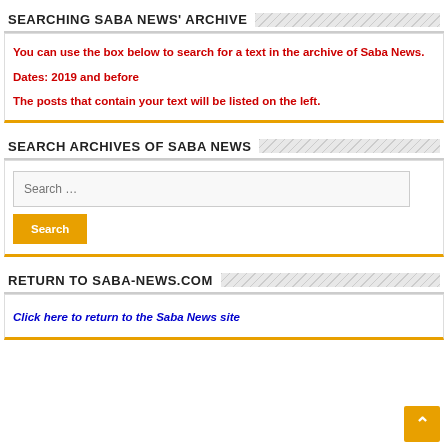SEARCHING SABA NEWS' ARCHIVE
You can use the box below to search for a text in the archive of Saba News.

Dates: 2019 and before

The posts that contain your text will be listed on the left.
SEARCH ARCHIVES OF SABA NEWS
Search ...
RETURN TO SABA-NEWS.COM
Click here to return to the Saba News site